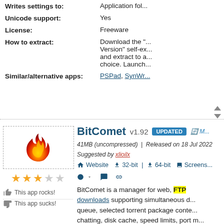| Property | Value |
| --- | --- |
| Writes settings to: | Application fol... |
| Unicode support: | Yes |
| License: | Freeware |
| How to extract: | Download the "..Version" self-ex... and extract to a... choice. Launch... |
| Similar/alternative apps: | PSPad, SynWr... |
[Figure (logo): BitComet flame logo icon — red and orange flame shape on white background, inside dashed border box]
★★★☆☆
This app rocks!
This app sucks!
BitComet v1.92 UPDATED
41MB (uncompressed) | Released on 18 Jul 2022
Suggested by xlioilx
Website | 32-bit | 64-bit | Screenshots
BitComet is a manager for web, FTP downloads supporting simultaneous download queue, selected torrent package conte... chatting, disk cache, speed limits, port m... filter etc.